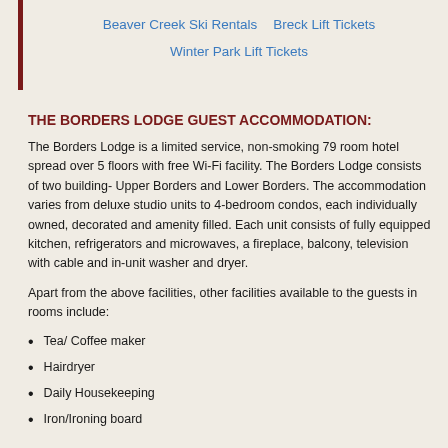Beaver Creek Ski Rentals    Breck Lift Tickets    Winter Park Lift Tickets
THE BORDERS LODGE GUEST ACCOMMODATION:
The Borders Lodge is a limited service, non-smoking 79 room hotel spread over 5 floors with free Wi-Fi facility. The Borders Lodge consists of two building- Upper Borders and Lower Borders. The accommodation varies from deluxe studio units to 4-bedroom condos, each individually owned, decorated and amenity filled. Each unit consists of fully equipped kitchen, refrigerators and microwaves, a fireplace, balcony, television with cable and in-unit washer and dryer.
Apart from the above facilities, other facilities available to the guests in rooms include:
Tea/ Coffee maker
Hairdryer
Daily Housekeeping
Iron/Ironing board